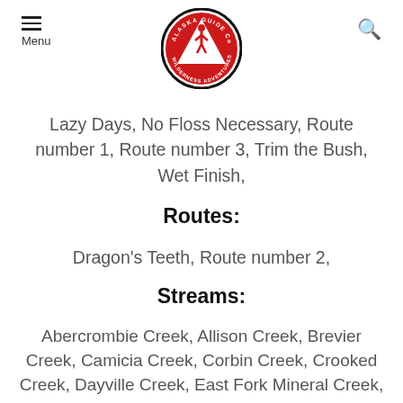Alaska Guide Co Wilderness Adventures — Menu / Search
Lazy Days, No Floss Necessary, Route number 1, Route number 3, Trim the Bush, Wet Finish,
Routes:
Dragon's Teeth, Route number 2,
Streams:
Abercrombie Creek, Allison Creek, Brevier Creek, Camicia Creek, Corbin Creek, Crooked Creek, Dayville Creek, East Fork Mineral Creek, Glacier Creek, Gold Creek, Horsetail Creek, Mineral Creek, Salmon Creek, Sawmill Creek, Slater Creek, Valdez Glacier Stream, Wood Creek,